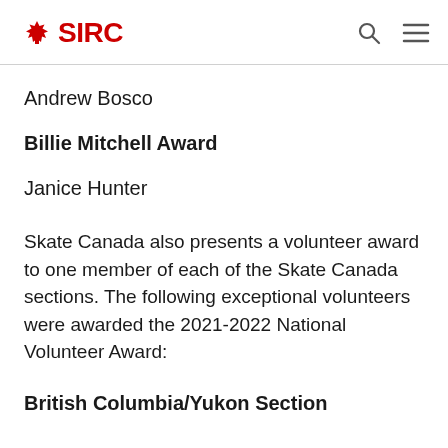SIRC
Andrew Bosco
Billie Mitchell Award
Janice Hunter
Skate Canada also presents a volunteer award to one member of each of the Skate Canada sections. The following exceptional volunteers were awarded the 2021-2022 National Volunteer Award:
British Columbia/Yukon Section